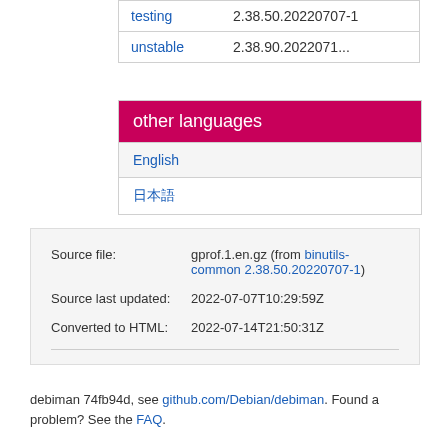| testing | 2.38.50.20220707-1 |
| unstable | 2.38.90.2022071... |
| other languages |
| --- |
| English |
| 日本語 |
| Source file: | gprof.1.en.gz (from binutils-common 2.38.50.20220707-1) |
| Source last updated: | 2022-07-07T10:29:59Z |
| Converted to HTML: | 2022-07-14T21:50:31Z |
debiman 74fb94d, see github.com/Debian/debiman. Found a problem? See the FAQ.